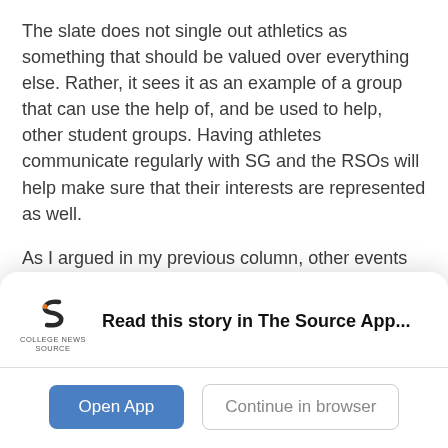The slate does not single out athletics as something that should be valued over everything else. Rather, it sees it as an example of a group that can use the help of, and be used to help, other student groups. Having athletes communicate regularly with SG and the RSOs will help make sure that their interests are represented as well.
As I argued in my previous column, other events could be run concurrently with games in order to improve attendance and excitement for both activities. How about having a WHPK-supported campus band play before a basketball game or during halftime? I'm sure
[Figure (logo): College News Source logo — stylized orange S shape with text COLLEGE NEWS SOURCE below]
Read this story in The Source App...
Open App
Continue in browser